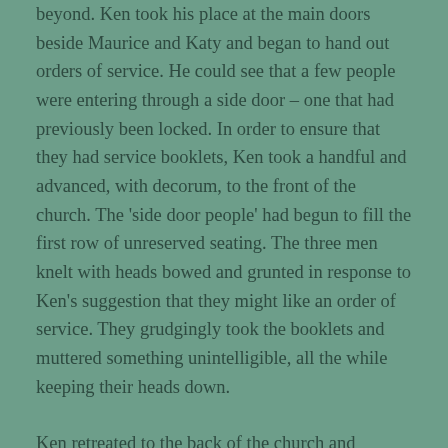beyond. Ken took his place at the main doors beside Maurice and Katy and began to hand out orders of service. He could see that a few people were entering through a side door – one that had previously been locked. In order to ensure that they had service booklets, Ken took a handful and advanced, with decorum, to the front of the church. The 'side door people' had begun to fill the first row of unreserved seating. The three men knelt with heads bowed and grunted in response to Ken's suggestion that they might like an order of service. They grudgingly took the booklets and muttered something unintelligible, all the while keeping their heads down.
Ken retreated to the back of the church and motioned to Maurice. Maurice spoke in a low voice. 'Press photographers out front. Reckon they're camera shy. Bet they leave the same way.'
Ken surveyed the other participants – he couldn't call them mourners. Professor Daniels was there in full academic dress